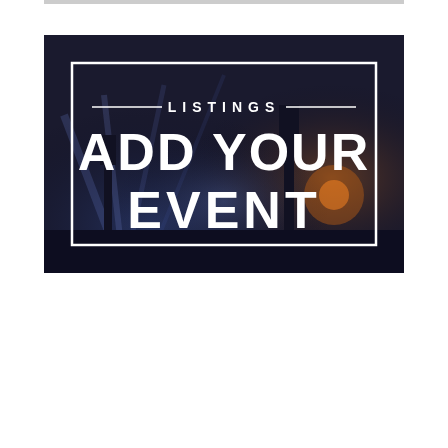[Figure (photo): Promotional banner image with dark night sky background showing a concert or event scene with lights. White rectangular border frame contains text: 'LISTINGS' in small spaced caps at top center flanked by horizontal lines, and large bold white text 'ADD YOUR EVENT' below.]